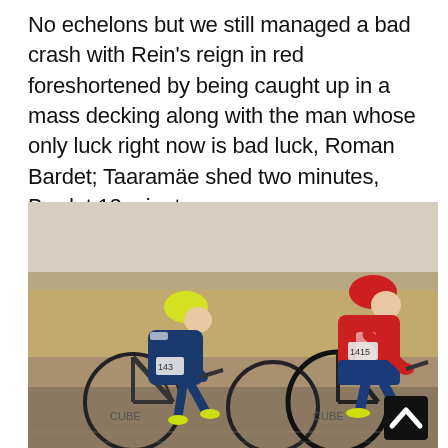No echelons but we still managed a bad crash with Rein's reign in red foreshortened by being caught up in a mass decking along with the man whose only luck right now is bad luck, Roman Bardet; Taaramäe shed two minutes, Bardet 12 minutes.
[Figure (photo): Two cyclists racing on road bikes in arid landscape. Left cyclist wears dark blue kit with yellow helmet. Right cyclist wears red jersey (race leader's jersey) with red helmet and blue/red shorts, both on Cube brand bicycles. Race numbers visible: 143 and 1415.]